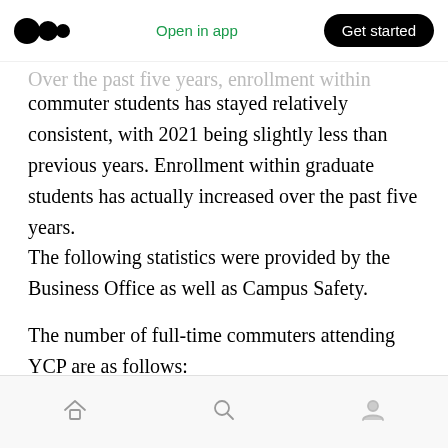Open in app | Get started
Over the past five years, enrollment within commuter students has stayed relatively consistent, with 2021 being slightly less than previous years. Enrollment within graduate students has actually increased over the past five years.
The following statistics were provided by the Business Office as well as Campus Safety.
The number of full-time commuters attending YCP are as follows:
2021: 1,314
Home | Search | Profile